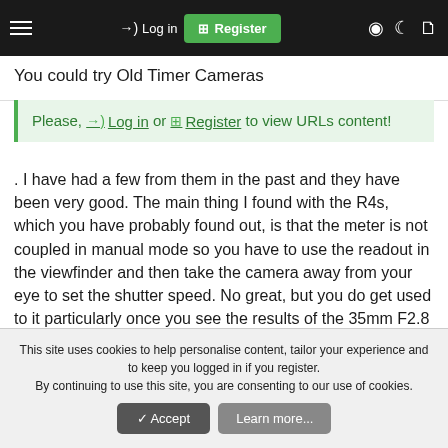Log in | Register
You could try Old Timer Cameras
Please, Log in or Register to view URLs content!
. I have had a few from them in the past and they have been very good. The main thing I found with the R4s, which you have probably found out, is that the meter is not coupled in manual mode so you have to use the readout in the viewfinder and then take the camera away from your eye to set the shutter speed. No great, but you do get used to it particularly once you see the results of the 35mm F2.8 - fantastic in dull conditions on Ilford
This site uses cookies to help personalise content, tailor your experience and to keep you logged in if you register.
By continuing to use this site, you are consenting to our use of cookies.